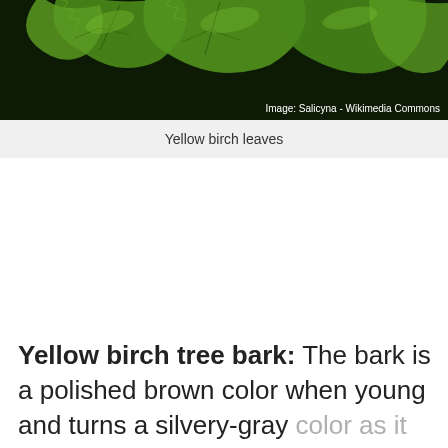[Figure (photo): Close-up photograph of yellow birch leaves against a dark background, showing serrated green leaves with visible veining]
Yellow birch leaves
Yellow birch tree bark: The bark is a polished brown color when young and turns a silvery-gray color as it matures. The bark has a yellow-bronze tinge that peels in narrow strips.